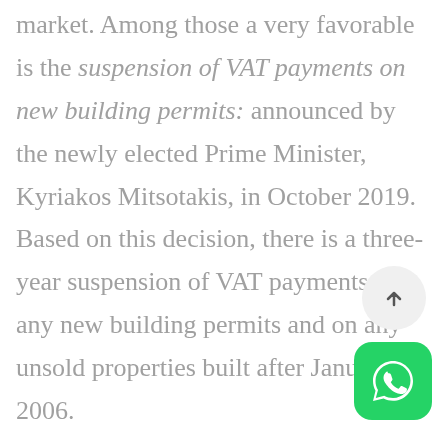market. Among those a very favorable is the suspension of VAT payments on new building permits: announced by the newly elected Prime Minister, Kyriakos Mitsotakis, in October 2019. Based on this decision, there is a three-year suspension of VAT payments on any new building permits and on any unsold properties built after January 1, 2006. The real estate prices in Greece are